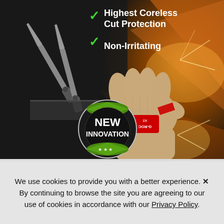[Figure (photo): Product advertisement image showing a hand wearing a cut-resistant glove (G-ROC A5) using metal shears/scissors on a dark surface with orange geometric lighting effects. Green checkmarks with text overlays: 'Highest Coreless Cut Protection' and 'Non-Irritating'. A circular badge reads 'NEW INNOVATION' with green star accents.]
We use cookies to provide you with a better experience. ✕ By continuing to browse the site you are agreeing to our use of cookies in accordance with our Privacy Policy.